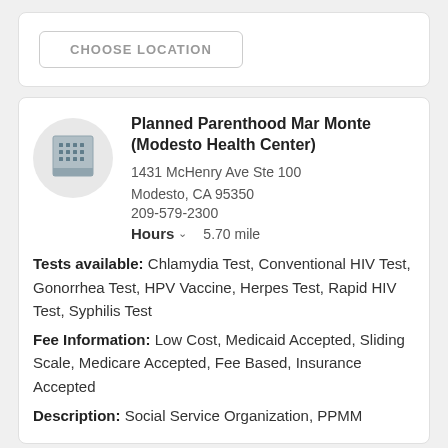CHOOSE LOCATION
Planned Parenthood Mar Monte (Modesto Health Center)
1431 McHenry Ave Ste 100
Modesto, CA 95350
209-579-2300
Hours  5.70 mile
Tests available: Chlamydia Test, Conventional HIV Test, Gonorrhea Test, HPV Vaccine, Herpes Test, Rapid HIV Test, Syphilis Test
Fee Information: Low Cost, Medicaid Accepted, Sliding Scale, Medicare Accepted, Fee Based, Insurance Accepted
Description: Social Service Organization, PPMM